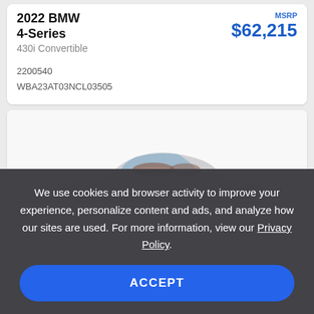2022 BMW 4-Series
430i Convertible
MSRP $62,215
2200540
WBA23AT03NCL03505
[Figure (photo): Partial view of a white BMW convertible car, showing the roofline and interior from above]
We use cookies and browser activity to improve your experience, personalize content and ads, and analyze how our sites are used. For more information, view our Privacy Policy.
ACCEPT